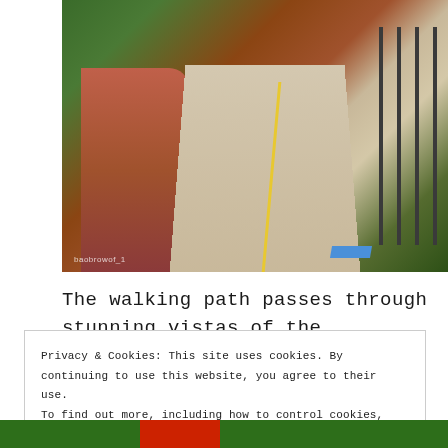[Figure (photo): A walking path with a dark red/brown jogging track on the left and a light gray paved path on the right, separated by yellow line markings, with blue markings on the right side, green trees and vegetation on both sides, and a metal fence railing on the right. A watermark reads 'baobrowof_1' in the lower left of the image.]
The walking path passes through stunning vistas of the mountains and dense forest cover.
Privacy & Cookies: This site uses cookies. By continuing to use this website, you agree to their use.
To find out more, including how to control cookies, see here: Cookie Policy
Close and accept